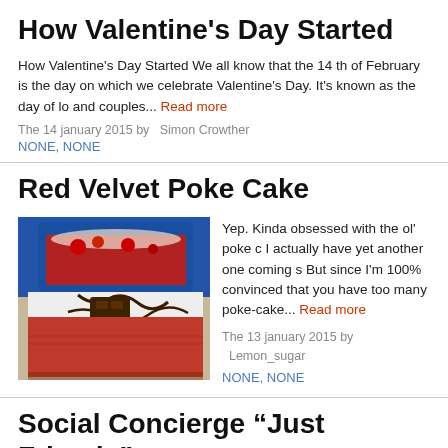How Valentine’s Day Started
How Valentine's Day Started We all know that the 14 th of February is the day on which we celebrate Valentine's Day. It’s known as the day of lo and couples... Read more
The 14 january 2015 by   Simon Crowther
NONE, NONE
Red Velvet Poke Cake
[Figure (photo): Photo of a red velvet poke cake slice with white cream and chocolate drizzle, with a blue baking dish in the background]
Yep.  Kinda obsessed with the ol' poke c I actually have yet another one coming s  But since I'm 100% convinced that you have too many poke-cake... Read more
The 13 january 2015 by   Lemon_sugar
NONE, NONE
Social Concierge “Just Friends” Manhattan Launch Party